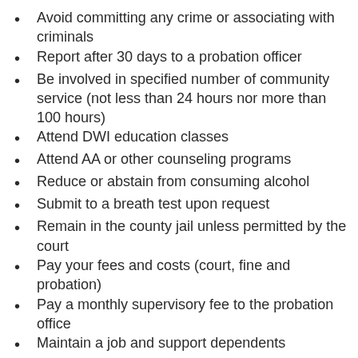Avoid committing any crime or associating with criminals
Report after 30 days to a probation officer
Be involved in specified number of community service (not less than 24 hours nor more than 100 hours)
Attend DWI education classes
Attend AA or other counseling programs
Reduce or abstain from consuming alcohol
Submit to a breath test upon request
Remain in the county jail unless permitted by the court
Pay your fees and costs (court, fine and probation)
Pay a monthly supervisory fee to the probation office
Maintain a job and support dependents
Terms of probation decided by judge or jury